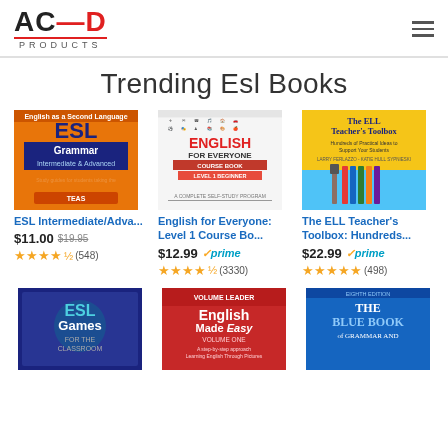[Figure (logo): ACED PRODUCTS logo with red dash bar and hamburger menu icon]
Trending Esl Books
[Figure (photo): ESL Grammar Intermediate & Advanced book cover (orange)]
ESL Intermediate/Adva...
$11.00 $19.95 ★★★★½ (548)
[Figure (photo): English for Everyone: Level 1 Course Book cover (white/red)]
English for Everyone: Level 1 Course Bo...
$12.99 ✓prime ★★★★½ (3330)
[Figure (photo): The ELL Teacher's Toolbox book cover (yellow/blue)]
The ELL Teacher's Toolbox: Hundreds...
$22.99 ✓prime ★★★★★ (498)
[Figure (photo): ESL Games for the Classroom book cover (dark blue)]
[Figure (photo): English Made Easy Volume One book cover (red/white)]
[Figure (photo): The Blue Book of Grammar and... (blue cover)]